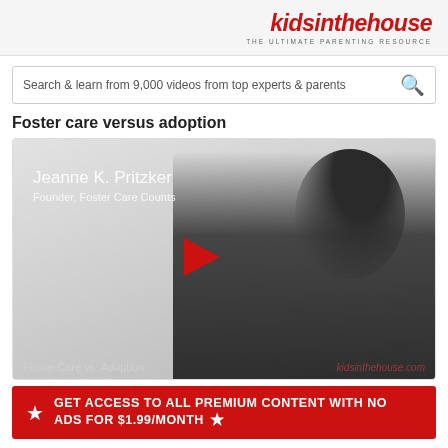kidsinthehouse THE ULTIMATE PARENTING RESOURCE
Search & learn from 9,000 videos from top experts & parents
Foster care versus adoption
[Figure (screenshot): Video thumbnail showing Jeanne K. Pritzker, Founder of Foster Care Counts, with a red play button overlay. Bottom caption reads 'Foster Care vs. Adoption' and watermark 'kidsinthehouse.com']
GET ACCESS TO ALL PREMIUM CONTENT WITH NO